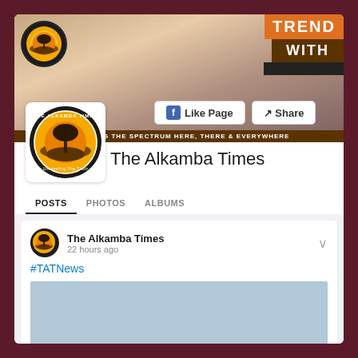[Figure (screenshot): Facebook page screenshot for The Alkamba Times showing cover photo with 'TREND WITH' banner, profile logo, Like Page and Share buttons, covering the spectrum tagline, navigation tabs (POSTS, PHOTOS, ALBUMS), and a post by The Alkamba Times from 22 hours ago with #TATNews hashtag and an image preview.]